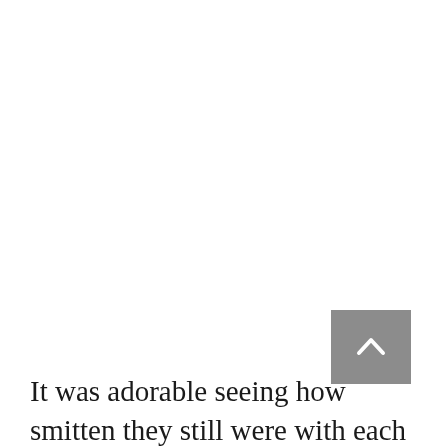[Figure (other): A scroll-to-top button: a grey square with a white upward-pointing chevron/caret arrow icon centered within it.]
It was adorable seeing how smitten they still were with each other. The green from their tops was really vibrant and offset nicely against the brown of the